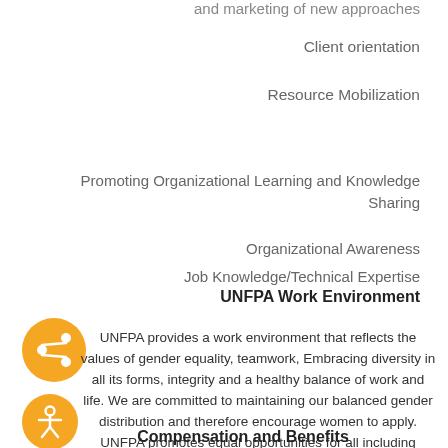and marketing of new approaches
Client orientation
Resource Mobilization
Promoting Organizational Learning and Knowledge Sharing
Organizational Awareness
Job Knowledge/Technical Expertise
UNFPA Work Environment
UNFPA provides a work environment that reflects the values of gender equality, teamwork, Embracing diversity in all its forms, integrity and a healthy balance of work and life. We are committed to maintaining our balanced gender distribution and therefore encourage women to apply. UNFPA promotes equal opportunities for all including persons with disabilities.
Compensation and Benefits